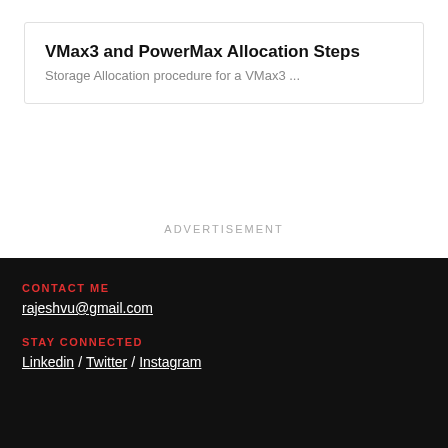VMax3 and PowerMax Allocation Steps
Storage Allocation procedure for a VMax3 ...
ADVERTISEMENT
CONTACT ME
rajeshvu@gmail.com
STAY CONNECTED
Linkedin / Twitter / Instagram